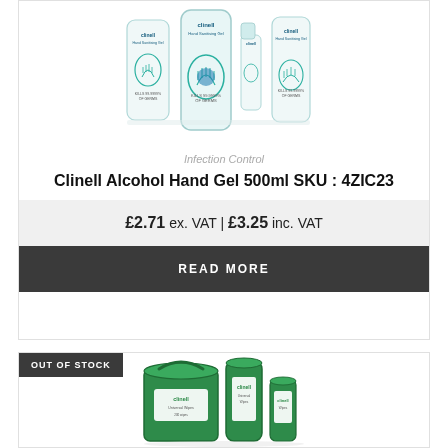[Figure (photo): Clinell alcohol hand gel bottles in various sizes with hand logo branding]
Infection Control
Clinell Alcohol Hand Gel 500ml SKU : 4ZIC23
£2.71 ex. VAT | £3.25 inc. VAT
READ MORE
OUT OF STOCK
[Figure (photo): Clinell wipes/disinfectant products in green containers and canisters]